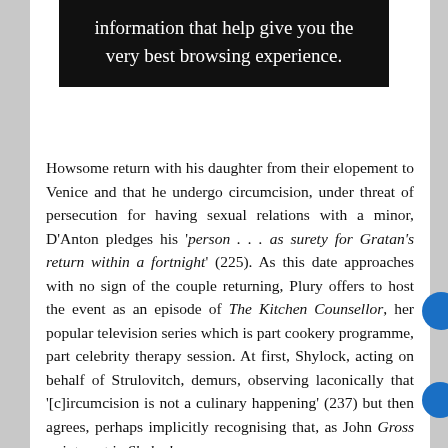information that help give you the very best browsing experience.
Howsome return with his daughter from their elopement to Venice and that he undergo circumcision, under threat of persecution for having sexual relations with a minor, D'Anton pledges his 'person . . . as surety for Gratan's return within a fortnight' (225). As this date approaches with no sign of the couple returning, Plury offers to host the event as an episode of The Kitchen Counsellor, her popular television series which is part cookery programme, part celebrity therapy session. At first, Shylock, acting on behalf of Strulovitch, demurs, observing laconically that '[c]ircumcision is not a culinary happening' (237) but then agrees, perhaps implicitly recognising that, as John Gross points out in Shylock